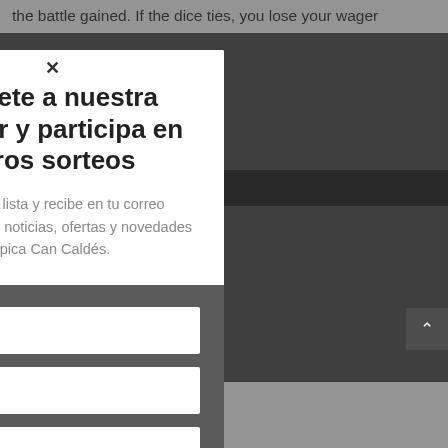the battle gained. If the dice ties, you lose your wager
Suscríbete a nuestra Newsletter y participa en nuestros sorteos
Únete a nuestra lista y recibe en tu correo electrónico todas las noticias, ofertas y novedades de la Hípica Can Caldés.
Nombre
Apellidos
Email
Este u acepo de a ca de